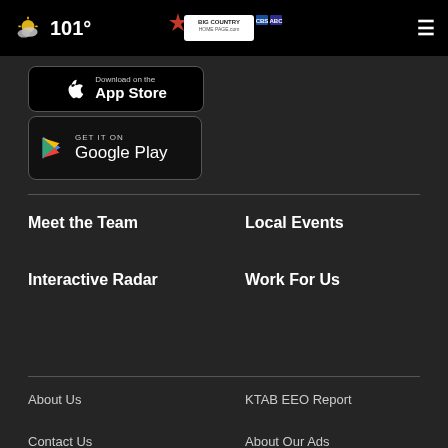101° Big Country Homepage CBS ABC
[Figure (screenshot): App Store download button]
[Figure (screenshot): Google Play download button]
Meet the Team
Local Events
Interactive Radar
Work For Us
About Us
KTAB EEO Report
Contact Us
About Our Ads
KRBC Public File
KTAB Public File